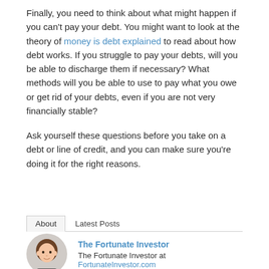Finally, you need to think about what might happen if you can't pay your debt. You might want to look at the theory of money is debt explained to read about how debt works. If you struggle to pay your debts, will you be able to discharge them if necessary? What methods will you be able to use to pay what you owe or get rid of your debts, even if you are not very financially stable?
Ask yourself these questions before you take on a debt or line of credit, and you can make sure you're doing it for the right reasons.
About   Latest Posts
The Fortunate Investor
The Fortunate Investor at FortunateInvestor.com